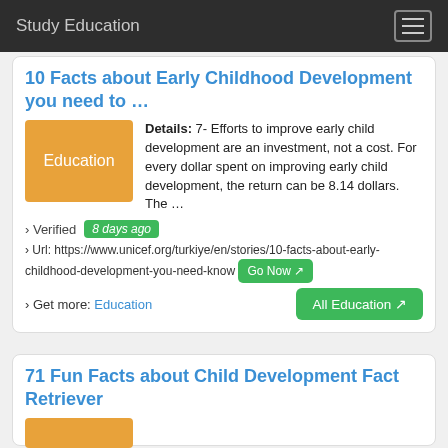Study Education
10 Facts about Early Childhood Development you need to …
[Figure (illustration): Orange Education badge/thumbnail]
Details: 7- Efforts to improve early child development are an investment, not a cost. For every dollar spent on improving early child development, the return can be 8.14 dollars. The …
› Verified  8 days ago
› Url: https://www.unicef.org/turkiye/en/stories/10-facts-about-early-childhood-development-you-need-know  Go Now ↗
› Get more:  Education   All Education ↗
71 Fun Facts about Child Development Fact Retriever